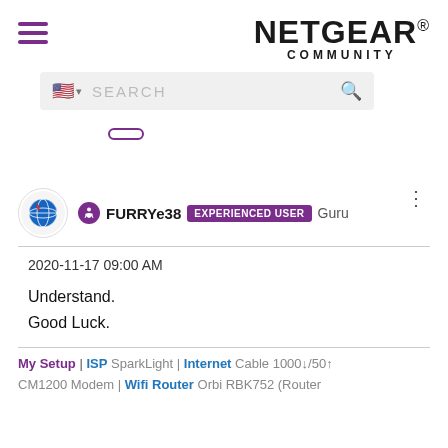[Figure (logo): NETGEAR COMMUNITY logo with hamburger menu icon on the left]
[Figure (screenshot): Search bar with US flag, SEARCH placeholder text and magnifier icon]
[Figure (screenshot): Sign In button (partially visible)]
FURRYe38 EXPERIENCED USER Guru
2020-11-17 09:00 AM
Understand.
Good Luck.
My Setup | ISP SparkLight | Internet Cable 1000↓/50↑ CM1200 Modem | Wifi Router Orbi RBK752 (Router